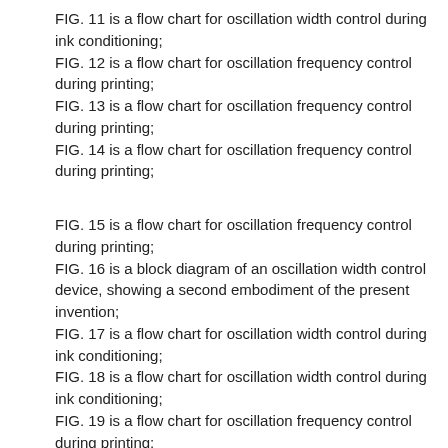FIG. 11 is a flow chart for oscillation width control during ink conditioning;
FIG. 12 is a flow chart for oscillation frequency control during printing;
FIG. 13 is a flow chart for oscillation frequency control during printing;
FIG. 14 is a flow chart for oscillation frequency control during printing;
FIG. 15 is a flow chart for oscillation frequency control during printing;
FIG. 16 is a block diagram of an oscillation width control device, showing a second embodiment of the present invention;
FIG. 17 is a flow chart for oscillation width control during ink conditioning;
FIG. 18 is a flow chart for oscillation width control during ink conditioning;
FIG. 19 is a flow chart for oscillation frequency control during printing;
FIG. 20 is a flow chart for oscillation frequency control during printing;